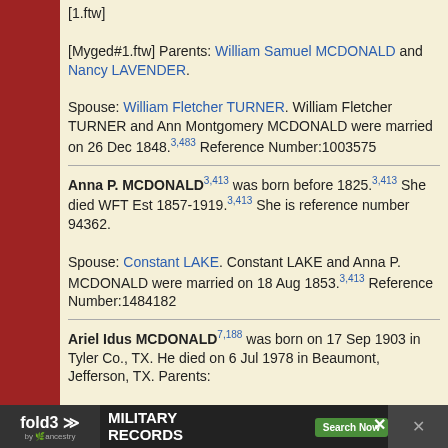[1.ftw]
[Myged#1.ftw] Parents: William Samuel MCDONALD and Nancy LAVENDER.
Spouse: William Fletcher TURNER. William Fletcher TURNER and Ann Montgomery MCDONALD were married on 26 Dec 1848.3,483 Reference Number:1003575
Anna P. MCDONALD3,413 was born before 1825.3,413 She died WFT Est 1857-1919.3,413 She is reference number 94362.
Spouse: Constant LAKE. Constant LAKE and Anna P. MCDONALD were married on 18 Aug 1853.3,413 Reference Number:1484182
Ariel Idus MCDONALD7,188 was born on 17 Sep 1903 in Tyler Co., TX. He died on 6 Jul 1978 in Beaumont, Jefferson, TX. Parents: HICKS. MCDONALD
[Figure (infographic): fold3 by Ancestry advertisement banner for Military Records with Search Now button and historical photo]